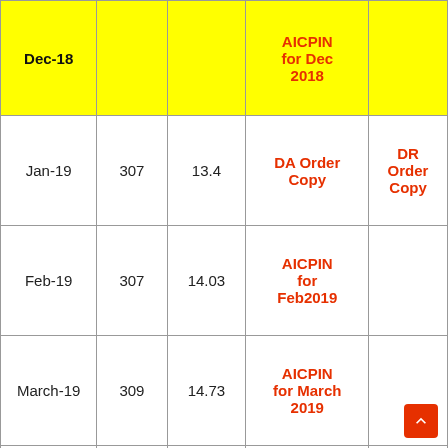| Month |  |  | Links |  |
| --- | --- | --- | --- | --- |
| Dec-18 |  |  | AICPIN for Dec 2018 |  |
| Jan-19 | 307 | 13.4 | DA Order Copy | DR Order Copy |
| Feb-19 | 307 | 14.03 | AICPIN for Feb2019 |  |
| March-19 | 309 | 14.73 | AICPIN for March 2019 |  |
| April-19 | 312 | 15.5 | AICPIN for April |  |